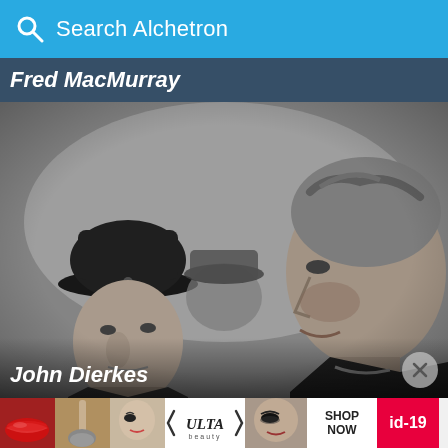Search Alchetron
Fred MacMurray
[Figure (photo): Black and white film still showing three men, one on the left wearing a Civil War era military cap, one partially visible in the center background also in a cap, and one on the right in profile with rugged features.]
John Dierkes
[Figure (infographic): Advertisement banner for ULTA beauty with makeup images, ULTA logo, SHOP NOW text, and id-19 label in red.]